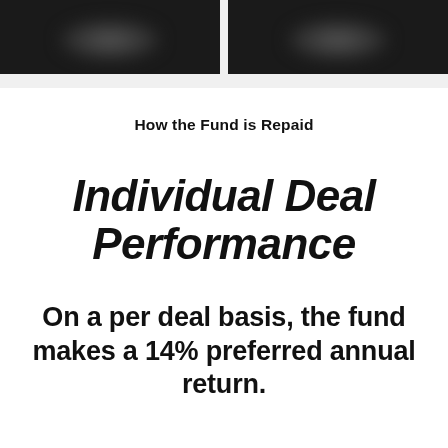[Figure (photo): Two dark/blurred image panels side by side at top of page]
How the Fund is Repaid
Individual Deal Performance
On a per deal basis, the fund makes a 14% preferred annual return.